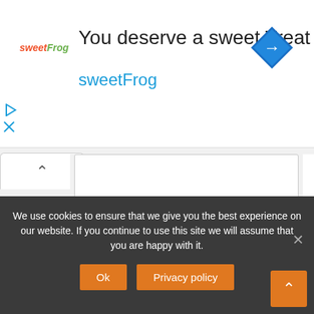[Figure (screenshot): sweetFrog ad banner with logo, text 'You deserve a sweet Treat', 'sweetFrog', navigation icon diamond, play and close buttons]
Website
Save my name, email, and website in this browser for the next time I comment.
Post Comment
We use cookies to ensure that we give you the best experience on our website. If you continue to use this site we will assume that you are happy with it.
Ok
Privacy policy